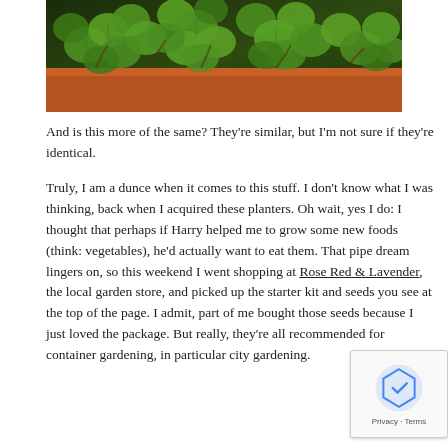[Figure (photo): Close-up photograph of green seedlings/plants with round leaves growing in a terracotta/brown planter box]
And is this more of the same? They're similar, but I'm not sure if they're identical.
Truly, I am a dunce when it comes to this stuff. I don't know what I was thinking, back when I acquired these planters. Oh wait, yes I do: I thought that perhaps if Harry helped me to grow some new foods (think: vegetables), he'd actually want to eat them. That pipe dream lingers on, so this weekend I went shopping at Rose Red & Lavender, the local garden store, and picked up the starter kit and seeds you see at the top of the page. I admit, part of me bought those seeds because I just loved the packa... But really, they're all recommended for container gardenin... in particular city gardening.